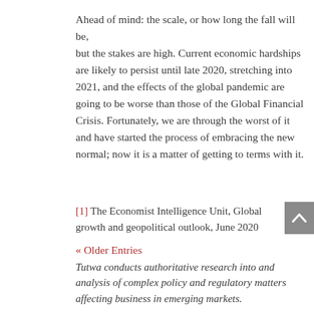Ahead of mind: the scale, or how long the fall will be, but the stakes are high. Current economic hardships are likely to persist until late 2020, stretching into 2021, and the effects of the global pandemic are going to be worse than those of the Global Financial Crisis. Fortunately, we are through the worst of it and have started the process of embracing the new normal; now it is a matter of getting to terms with it.
[1] The Economist Intelligence Unit, Global growth and geopolitical outlook, June 2020
« Older Entries
Tutwa conducts authoritative research into and analysis of complex policy and regulatory matters affecting business in emerging markets.